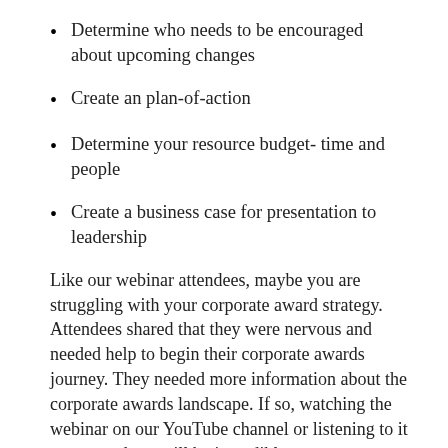Determine who needs to be encouraged about upcoming changes
Create an plan-of-action
Determine your resource budget- time and people
Create a business case for presentation to leadership
Like our webinar attendees, maybe you are struggling with your corporate award strategy. Attendees shared that they were nervous and needed help to begin their corporate awards journey. They needed more information about the corporate awards landscape. If so, watching the webinar on our YouTube channel or listening to it on our podcast will be incredibly